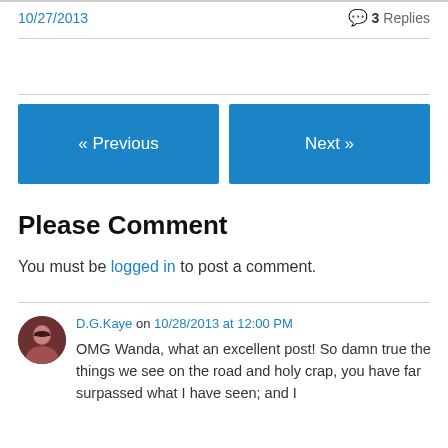10/27/2013
3 Replies
« Previous
Next »
Please Comment
You must be logged in to post a comment.
D.G.Kaye on 10/28/2013 at 12:00 PM
OMG Wanda, what an excellent post! So damn true the things we see on the road and holy crap, you have far surpassed what I have seen; and I